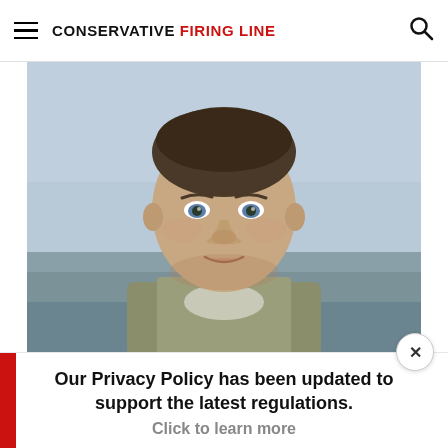CONSERVATIVE FIRING LINE
[Figure (photo): Portrait photo of a man in military-style camouflage clothing, short brown hair, blue eyes, slight smile, outdoor background with blurred sky and horizon]
Our Privacy Policy has been updated to support the latest regulations.
Click to learn more